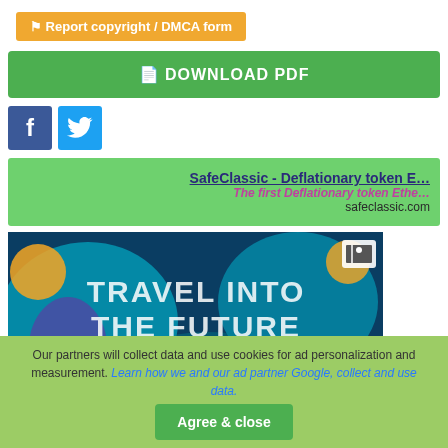Report copyright / DMCA form
DOWNLOAD PDF
[Figure (logo): Facebook and Twitter social share buttons]
SafeClassic - Deflationary token E... The first Deflationary token Ethe... safeclassic.com
[Figure (photo): Crypto advertisement banner with text: TRAVEL INTO THE FUTURE AND DOUBLE YOUR CRYPTO]
Our partners will collect data and use cookies for ad personalization and measurement. Learn how we and our ad partner Google, collect and use data. Agree & close